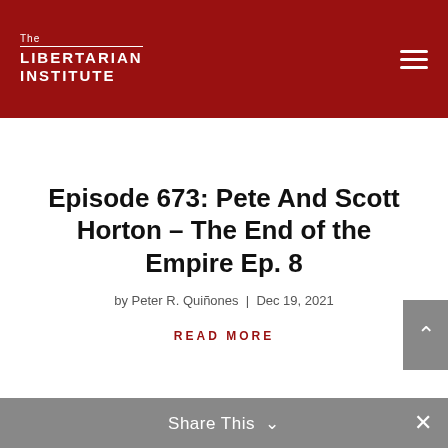The Libertarian Institute
Episode 673: Pete And Scott Horton – The End of the Empire Ep. 8
by Peter R. Quiñones | Dec 19, 2021
READ MORE
Share This